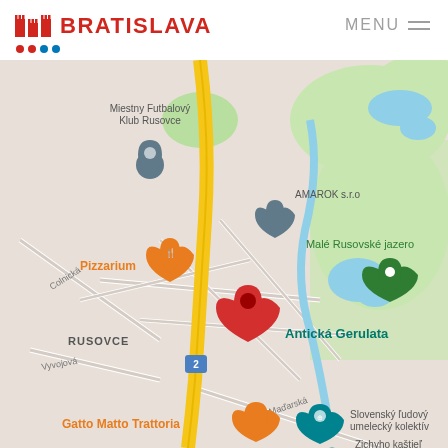BRATISLAVA | MENU
[Figure (map): Google Maps screenshot showing Rusovce district in Bratislava, Slovakia. Visible landmarks include: Miestny Futbalový Klub Rusovce, AMAROK s.r.o, Malé Rusovské jazero (green marker), Pizzarium (orange restaurant pin), RUSOVCE label, Antická Gerulata (red location pin, bold teal label), Gatto Matto Trattoria (orange restaurant pin), Slovenský ľudový umelecký kolektív (teal marker), Zichyho kaštieľ (teal marker). Roads include Colnická, Vyvojová, Maďarská, and a yellow highlighted main road with route 2 marker.]